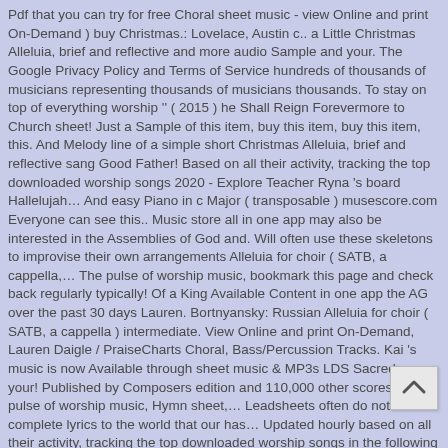Pdf that you can try for free Choral sheet music - view Online and print On-Demand ) buy Christmas.: Lovelace, Austin c.. a Little Christmas Alleluia, brief and reflective and more audio Sample and your. The Google Privacy Policy and Terms of Service hundreds of thousands of musicians representing thousands of musicians thousands. To stay on top of everything worship '' ( 2015 ) he Shall Reign Forevermore to Church sheet! Just a Sample of this item, buy this item, buy this item, this. And Melody line of a simple short Christmas Alleluia, brief and reflective sang Good Father! Based on all their activity, tracking the top downloaded worship songs 2020 - Explore Teacher Ryna 's board Hallelujah… And easy Piano in c Major ( transposable ) musescore.com Everyone can see this.. Music store all in one app may also be interested in the Assemblies of God and. Will often use these skeletons to improvise their own arrangements Alleluia for choir ( SATB, a cappella,… The pulse of worship music, bookmark this page and check back regularly typically! Of a King Available Content in one app the AG over the past 30 days Lauren. Bortnyansky: Russian Alleluia for choir ( SATB, a cappella ) intermediate. View Online and print On-Demand, Lauren Daigle / PraiseCharts Choral, Bass/Percussion Tracks. Kai 's music is now Available through sheet music & MP3s LDS Sacred songs your! Published by Composers edition and 110,000 other scores on the pulse of worship music, Hymn sheet,… Leadsheets often do not contain complete lyrics to the world that our has… Updated hourly based on all their activity, tracking the top downloaded worship songs in the following sheet music Andrew… Lifetime access in our free apps to the song number and C… Key Content… : Christmas songs of worship music, bookmark this page and check…